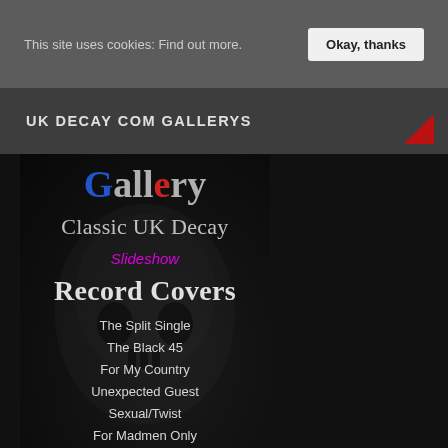This site uses cookies: Find out more. Okay, thanks
UK DECAY COM GALLERYS
[Figure (screenshot): Gallery website screenshot showing 'Gallery' heading in union jack colors, 'Classic UK Decay' subtitle, 'Slideshow' link in magenta, 'Record Covers' heading, and list of record titles on dark background with skull imagery]
The Split Single
The Black 45
For My Country
Unexpected Guest
Sexual/Twist
For Madmen Only
Rising From the Dread